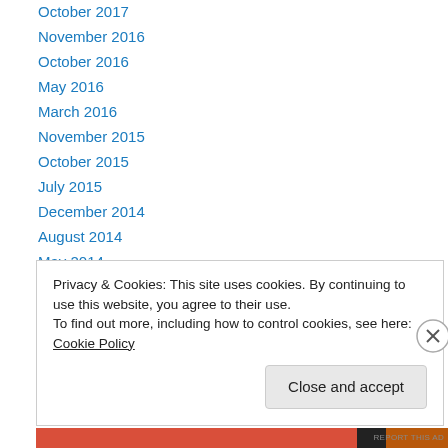October 2017
November 2016
October 2016
May 2016
March 2016
November 2015
October 2015
July 2015
December 2014
August 2014
May 2014
December 2013
April 2013
Privacy & Cookies: This site uses cookies. By continuing to use this website, you agree to their use.
To find out more, including how to control cookies, see here: Cookie Policy
Close and accept